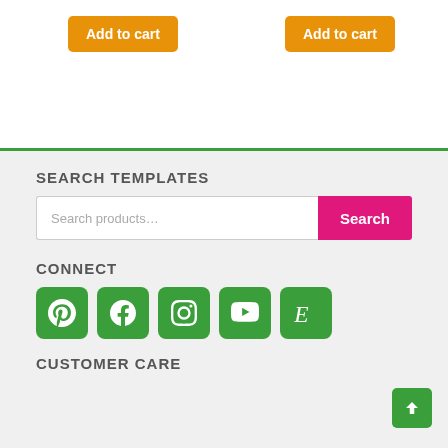[Figure (screenshot): Two orange 'Add to cart' buttons on white background]
SEARCH TEMPLATES
[Figure (screenshot): Search bar with placeholder 'Search products...' and pink Search button]
CONNECT
[Figure (infographic): Five green social media icon buttons: Pinterest, Facebook, Instagram, YouTube, Etsy]
CUSTOMER CARE